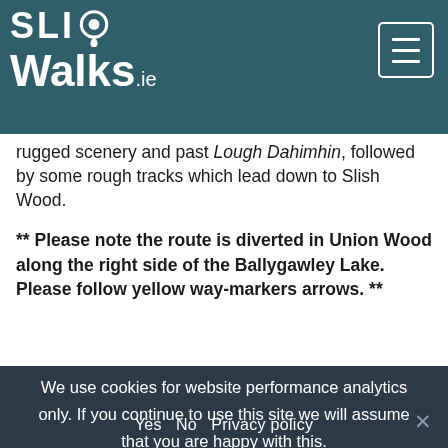SligoWalks.ie
rugged scenery and past Lough Dahimhin, followed by some rough tracks which lead down to Slish Wood.
** Please note the route is diverted in Union Wood along the right side of the Ballygawley Lake. Please follow yellow way-markers arrows. **
We use cookies for website performance analytics only. If you continue to use this site we will assume that you are happy with this.
Yes   No   Privacy policy